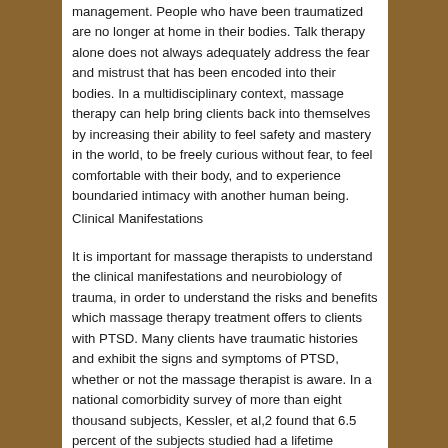management. People who have been traumatized are no longer at home in their bodies. Talk therapy alone does not always adequately address the fear and mistrust that has been encoded into their bodies. In a multidisciplinary context, massage therapy can help bring clients back into themselves by increasing their ability to feel safety and mastery in the world, to be freely curious without fear, to feel comfortable with their body, and to experience boundaried intimacy with another human being.
Clinical Manifestations
It is important for massage therapists to understand the clinical manifestations and neurobiology of trauma, in order to understand the risks and benefits which massage therapy treatment offers to clients with PTSD. Many clients have traumatic histories and exhibit the signs and symptoms of PTSD, whether or not the massage therapist is aware. In a national comorbidity survey of more than eight thousand subjects, Kessler, et al,2 found that 6.5 percent of the subjects studied had a lifetime prevalence of PTSD and another 2.8 percent had a 30-day prevalence of PTSD. Women were at twice the risk of